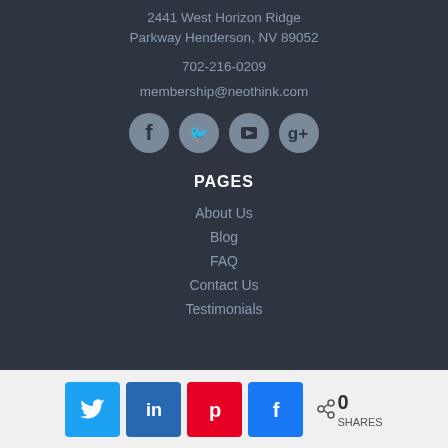2441 West Horizon Ridge Parkway Henderson, NV 89052
702-216-0209
membership@neothink.com
[Figure (illustration): Four social media icons in circles: Facebook, Twitter, YouTube, Google+]
PAGES
About Us
Blog
FAQ
Contact Us
Testimonials
[Figure (infographic): Social share bar with Twitter, LinkedIn, Pinterest, Facebook share buttons and a share count showing 0 SHARES]